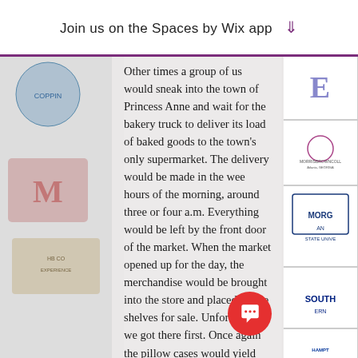Join us on the Spaces by Wix app ↓
Other times a group of us would sneak into the town of Princess Anne and wait for the bakery truck to deliver its load of baked goods to the town's only supermarket. The delivery would be made in the wee hours of the morning, around three or four a.m. Everything would be left by the front door of the market. When the market opened up for the day, the merchandise would be brought into the store and placed on the shelves for sale. Unfortunately we got there first. Once again the pillow cases would yield their bounty upon our return back to the dorm. There were pies, pastries, cakes; enough to go around and then some!